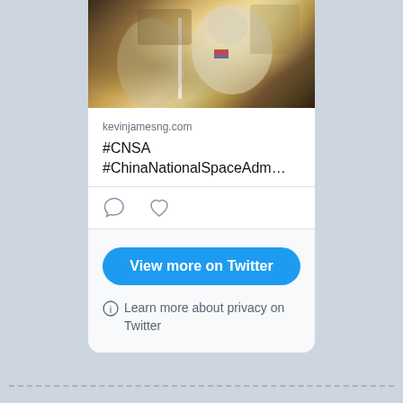[Figure (photo): A photo showing astronauts in white spacesuits inside a spacecraft interior, warm tones, Chinese space mission imagery]
kevinjamesng.com
#CNSA #ChinaNationalSpaceAdm…
[Figure (other): Comment and like icons (social media action buttons)]
View more on Twitter
Learn more about privacy on Twitter